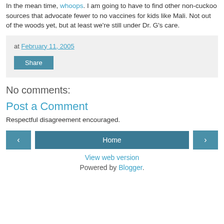In the mean time, whoops. I am going to have to find other non-cuckoo sources that advocate fewer to no vaccines for kids like Mali. Not out of the woods yet, but at least we're still under Dr. G's care.
at February 11, 2005
Share
No comments:
Post a Comment
Respectful disagreement encouraged.
‹ Home › View web version Powered by Blogger.